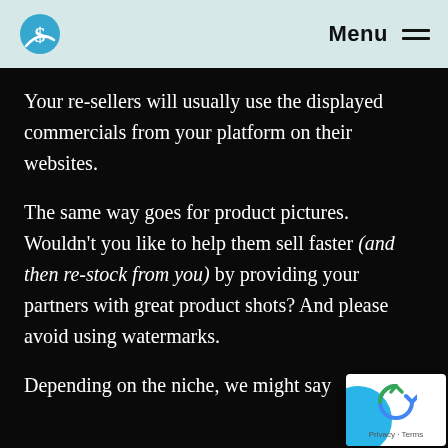Menu
Your re-sellers will usually use the displayed commercials from your platform on their websites.
The same way goes for product pictures. Wouldn't you like to help them sell faster (and then re-stock from you) by providing your partners with great product shots? And please avoid using watermarks.
Depending on the niche, we might say